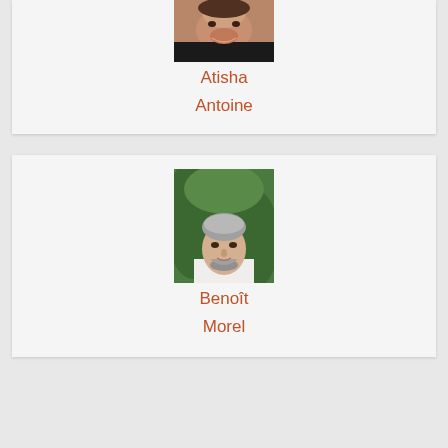[Figure (photo): Cropped photo of Atisha Antoine, showing top portion of face with a smile, wearing a dark shirt]
Atisha
Antoine
[Figure (photo): Portrait photo of Benoît Morel, a middle-aged man with short grey hair and a beard, wearing a white shirt, with green foliage background]
Benoît
Morel